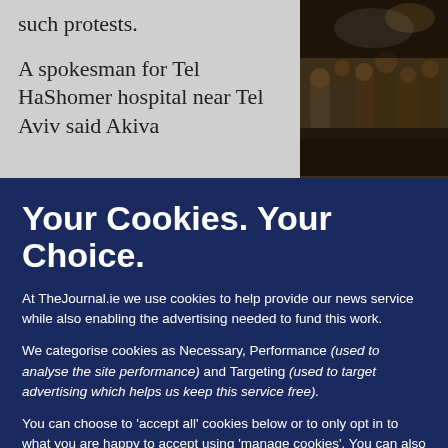such protests.
A spokesman for Tel HaShomer hospital near Tel Aviv said Akiva
[Figure (photo): Dark crowd scene photo, appears to be a nighttime gathering of people]
Your Cookies. Your Choice.
At TheJournal.ie we use cookies to help provide our news service while also enabling the advertising needed to fund this work.
We categorise cookies as Necessary, Performance (used to analyse the site performance) and Targeting (used to target advertising which helps us keep this service free).
You can choose to 'accept all' cookies below or to only opt in to what you are happy to accept using 'manage cookies'. You can also change your cookie settings at any time and learn more about how we use cookies in our Privacy Policy.